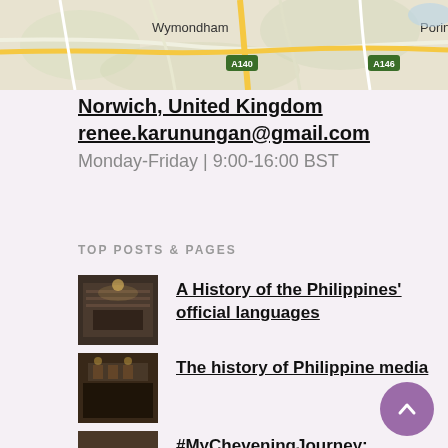[Figure (map): Google Maps style map showing Norwich area with Wymondham to the left, Poringland to the right, A140 road label in green sign in center, A146 road label in green sign on right, roads and terrain visible]
Norwich, United Kingdom
renee.karunungan@gmail.com
Monday-Friday | 9:00-16:00 BST
TOP POSTS & PAGES
[Figure (photo): Thumbnail image of a room interior, dark tones, appears to be a bar or restaurant]
A History of the Philippines' official languages
[Figure (photo): Thumbnail image of a dimly lit interior, possibly a bar or restaurant]
The history of Philippine media
[Figure (photo): Thumbnail image of a group of people outdoors]
#MyCheveningJourney: Applying, getting accepted, and living th Chevening dream